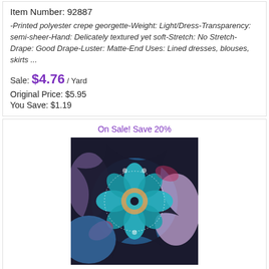Item Number: 92887
-Printed polyester crepe georgette-Weight: Light/Dress-Transparency: semi-sheer-Hand: Delicately textured yet soft-Stretch: No Stretch-Drape: Good Drape-Luster: Matte-End Uses: Lined dresses, blouses, skirts ...
Sale: $4.76 / Yard
Original Price: $5.95
You Save: $1.19
On Sale! Save 20%
[Figure (photo): Close-up photo of blue/purple/sky medallion crepe georgette fabric with floral paisley pattern in teal, purple, pink, and dark navy colors]
Blue/Purple/Sky Medallion Crepe Georgette